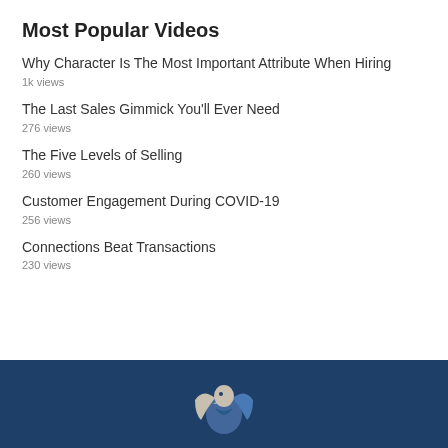Most Popular Videos
Why Character Is The Most Important Attribute When Hiring
1k views
The Last Sales Gimmick You'll Ever Need
276 views
The Five Levels of Selling
260 views
Customer Engagement During COVID-19
256 views
Connections Beat Transactions
230 views
[Figure (logo): Company logo in white/gray on dark blue footer background]